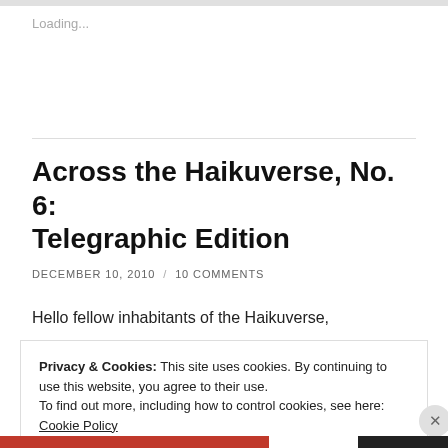Loading...
Across the Haikuverse, No. 6: Telegraphic Edition
DECEMBER 10, 2010 / 10 COMMENTS
Hello fellow inhabitants of the Haikuverse,
Privacy & Cookies: This site uses cookies. By continuing to use this website, you agree to their use.
To find out more, including how to control cookies, see here: Cookie Policy
Close and accept